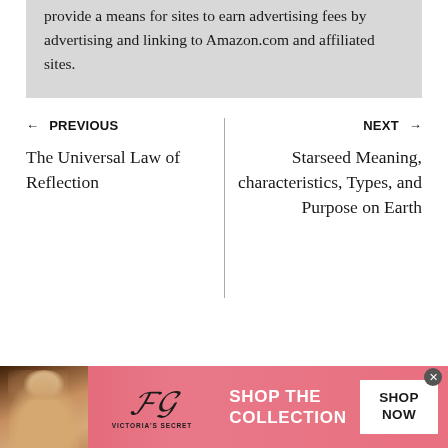provide a means for sites to earn advertising fees by advertising and linking to Amazon.com and affiliated sites.
← PREVIOUS
The Universal Law of Reflection
NEXT →
Starseed Meaning, characteristics, Types, and Purpose on Earth
[Figure (photo): Victoria's Secret advertisement banner with a woman model, VS logo, 'SHOP THE COLLECTION' text, and a white 'SHOP NOW' button on a pink background]